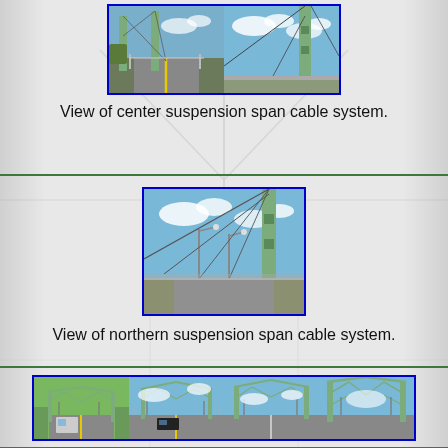[Figure (photo): Two side-by-side photos showing view of center suspension span cable system of a bridge, with blue borders]
View of center suspension span cable system.
[Figure (photo): Single photo showing view of northern suspension span cable system of a bridge, with blue border]
View of northern suspension span cable system.
[Figure (photo): Four side-by-side photos showing portal views of truss spans facing south, with blue borders]
Portal views of truss spans facing south.